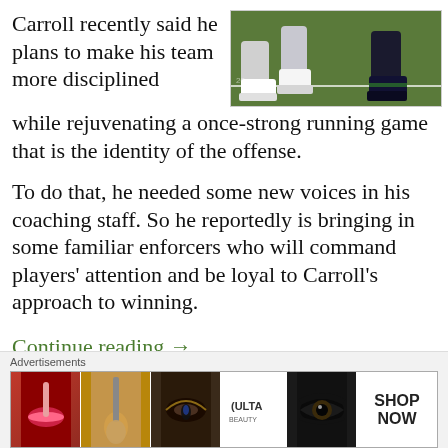Carroll recently said he plans to make his team more disciplined while rejuvenating a once-strong running game that is the identity of the offense.
[Figure (photo): Close-up photo of football players' legs and cleats on a field]
To do that, he needed some new voices in his coaching staff. So he reportedly is bringing in some familiar enforcers who will command players' attention and be loyal to Carroll’s approach to winning.
Continue reading →
Advertisements
[Figure (photo): Ulta Beauty advertisement banner showing makeup and beauty products]